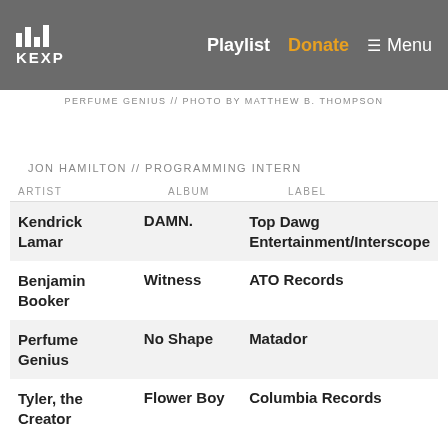KEXP — Playlist  Donate  ☰ Menu
PERFUME GENIUS // PHOTO BY MATTHEW B. THOMPSON
JON HAMILTON // PROGRAMMING INTERN
| ARTIST | ALBUM | LABEL |
| --- | --- | --- |
| Kendrick Lamar | DAMN. | Top Dawg Entertainment/Interscope |
| Benjamin Booker | Witness | ATO Records |
| Perfume Genius | No Shape | Matador |
| Tyler, the Creator | Flower Boy | Columbia Records |